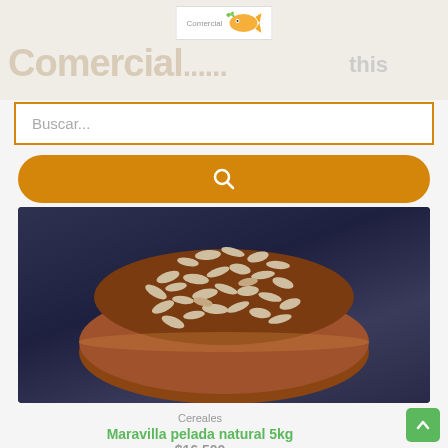[Figure (logo): Comercial HAS logo with fish/animal graphic in orange and green on white background]
[Figure (screenshot): E-commerce website header banner with 'Comercial...' watermark text, search bar with orange border showing placeholder 'Buscar...', and orange rounded search button with magnifying glass icon]
[Figure (photo): Photo of a wooden bowl filled with peeled sunflower seeds (maravilla pelada natural) on a dark slate surface]
Cereales
Maravilla pelada natural 5kg
$16.500